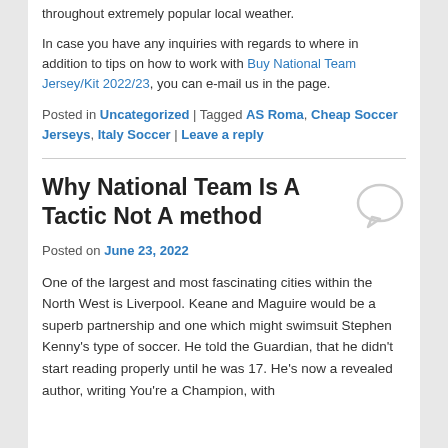throughout extremely popular local weather.
In case you have any inquiries with regards to where in addition to tips on how to work with Buy National Team Jersey/Kit 2022/23, you can e-mail us in the page.
Posted in Uncategorized | Tagged AS Roma, Cheap Soccer Jerseys, Italy Soccer | Leave a reply
Why National Team Is A Tactic Not A method
Posted on June 23, 2022
One of the largest and most fascinating cities within the North West is Liverpool. Keane and Maguire would be a superb partnership and one which might swimsuit Stephen Kenny's type of soccer. He told the Guardian, that he didn't start reading properly until he was 17. He's now a revealed author, writing You're a Champion, with